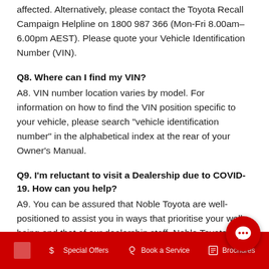affected. Alternatively, please contact the Toyota Recall Campaign Helpline on 1800 987 366 (Mon-Fri 8.00am-6.00pm AEST). Please quote your Vehicle Identification Number (VIN).
Q8. Where can I find my VIN?
A8. VIN number location varies by model. For information on how to find the VIN position specific to your vehicle, please search "vehicle identification number" in the alphabetical index at the rear of your Owner's Manual.
Q9. I'm reluctant to visit a Dealership due to COVID-19. How can you help?
A9. You can be assured that Noble Toyota are well-positioned to assist you in ways that prioritise your well-being and that of our dealership staff. Noble Toyota will be able to assist in addressing your specific concern as well...
Special Offers   Book a Service   Brochures